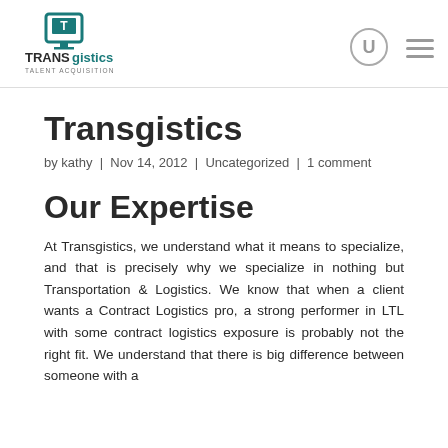TRANSgistics Talent Acquisition — logo and navigation
Transgistics
by kathy | Nov 14, 2012 | Uncategorized | 1 comment
Our Expertise
At Transgistics, we understand what it means to specialize, and that is precisely why we specialize in nothing but Transportation & Logistics. We know that when a client wants a Contract Logistics pro, a strong performer in LTL with some contract logistics exposure is probably not the right fit. We understand that there is big difference between someone with a